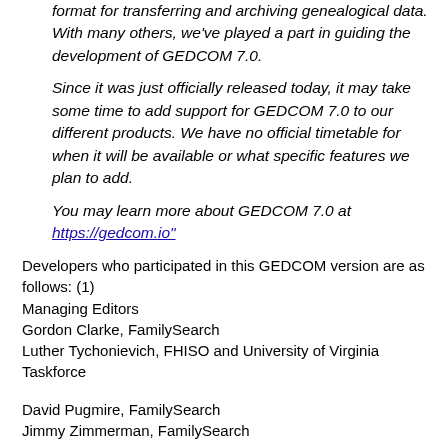format for transferring and archiving genealogical data. With many others, we've played a part in guiding the development of GEDCOM 7.0.
Since it was just officially released today, it may take some time to add support for GEDCOM 7.0 to our different products. We have no official timetable for when it will be available or what specific features we plan to add.
You may learn more about GEDCOM 7.0 at https://gedcom.io"
Developers who participated in this GEDCOM version are as follows: (1)
Managing Editors
Gordon Clarke, FamilySearch
Luther Tychonievich, FHISO and University of Virginia
Taskforce
David Pugmire, FamilySearch
Jimmy Zimmerman, FamilySearch